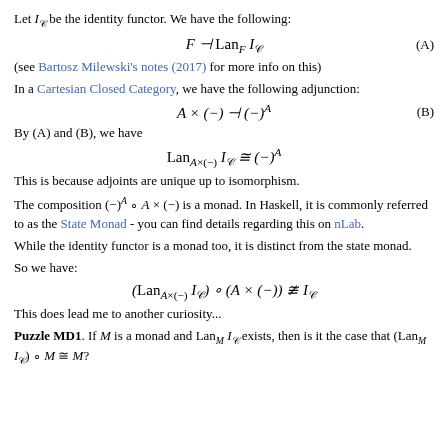Let I_C be the identity functor. We have the following:
(see Bartosz Milewski's notes (2017) for more info on this)
In a Cartesian Closed Category, we have the following adjunction:
By (A) and (B), we have
This is because adjoints are unique up to isomorphism.
The composition (−)^A ∘ A × (−) is a monad. In Haskell, it is commonly referred to as the State Monad - you can find details regarding this on nLab.
While the identity functor is a monad too, it is distinct from the state monad.
So we have:
This does lead me to another curiosity...
Puzzle MD1. If M is a monad and Lan_M I_C exists, then is it the case that (Lan_M I_C) ∘ M ≅ M?